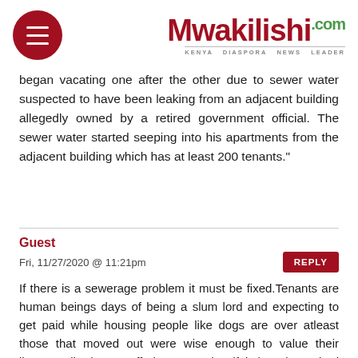Mwakilishi.com — Kenya Diaspora News Leader
began vacating one after the other due to sewer water suspected to have been leaking from an adjacent building allegedly owned by a retired government official. The sewer water started seeping into his apartments from the adjacent building which has at least 200 tenants."
Guest
Fri, 11/27/2020 @ 11:21pm
REPLY
If there is a sewerage problem it must be fixed.Tenants are human beings days of being a slum lord and expecting to get paid while housing people like dogs are over atleast those that moved out were wise enough to value their lives.Landlords are offering a service if it is substandard they deserve their huge losses